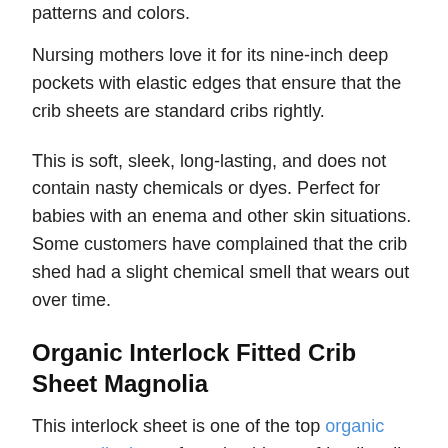patterns and colors.
Nursing mothers love it for its nine-inch deep pockets with elastic edges that ensure that the crib sheets are standard cribs rightly.
This is soft, sleek, long-lasting, and does not contain nasty chemicals or dyes. Perfect for babies with an enema and other skin situations.
Some customers have complained that the crib shed had a slight chemical smell that wears out over time.
Organic Interlock Fitted Crib Sheet Magnolia
This interlock sheet is one of the top organic cotton crib sheets for sale, this eco-friendly crib sheet is soft, and it has mild feet on kids with sensitive skins, particularly eczema.